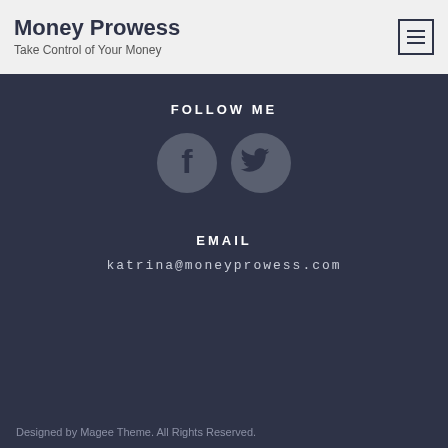Money Prowess
Take Control of Your Money
FOLLOW ME
[Figure (illustration): Facebook and Twitter social media icons (circular dark gray icons with white symbols)]
EMAIL
katrina@moneyprowess.com
Designed by Magee Theme. All Rights Reserved.